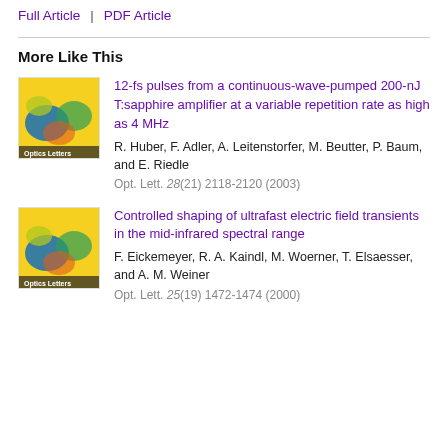Full Article  |  PDF Article
More Like This
[Figure (illustration): Optics Letters journal cover thumbnail - yellow and blue abstract optical image]
12-fs pulses from a continuous-wave-pumped 200-nJ T:sapphire amplifier at a variable repetition rate as high as 4 MHz
R. Huber, F. Adler, A. Leitenstorfer, M. Beutter, P. Baum, and E. Riedle
Opt. Lett. 28(21) 2118-2120 (2003)
[Figure (illustration): Optics Letters journal cover thumbnail - yellow and blue abstract optical image]
Controlled shaping of ultrafast electric field transients in the mid-infrared spectral range
F. Eickemeyer, R. A. Kaindl, M. Woerner, T. Elsaesser, and A. M. Weiner
Opt. Lett. 25(19) 1472-1474 (2000)